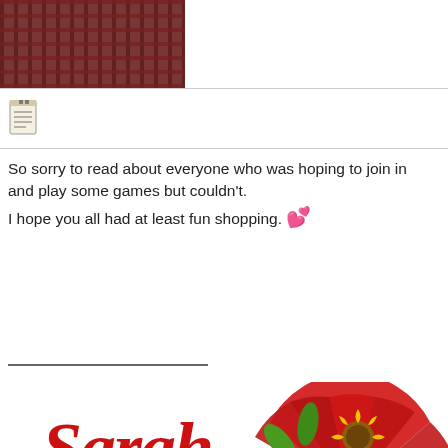[Figure (photo): Partial photo of a person wearing a red plaid/checkered shirt, cropped at top]
[Figure (illustration): Small document/notepad icon]
So sorry to read about everyone who was hoping to join in and play some games but couldn't.
I hope you all had at least fun shopping. 💕
[Figure (illustration): Sarah proudly creating for Sweet Shoppe Designs signature logo with floral decorative elements including red fan, crown, flowers in yellow, blue, white, and green leaves]